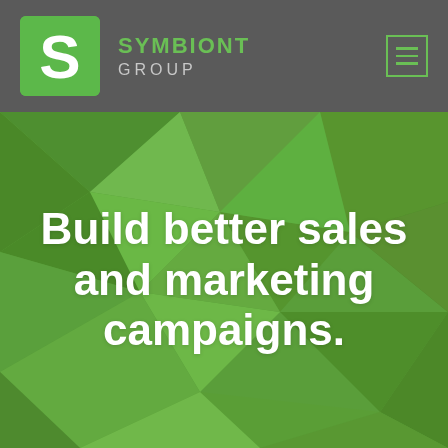[Figure (logo): Symbiont Group logo: green rounded square with white S letter, followed by company name SYMBIONT GROUP in green and grey text on dark grey header bar. Hamburger menu icon (three horizontal lines) in green outline box on top right.]
[Figure (illustration): Low-poly geometric background made of green triangular facets in various shades of green, forming a polygonal abstract pattern across the hero section.]
Build better sales and marketing campaigns.